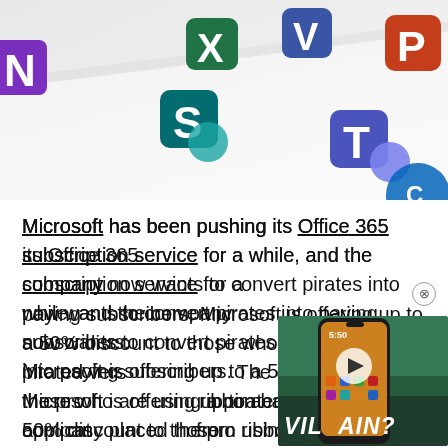[Figure (photo): Microsoft Office 365 app icons (OneNote, SharePoint, Teams, Yammer, OneDrive, PowerPoint, etc.) arranged on a light surface in a promotional hero image.]
Microsoft has been pushing its Office 365 subscription service for a while, and the company now wants to convert pirates into paying subscribers. Microsoft is offering up to a 50% discount to those who are using a pirated version. The company placed the promotion in the ribbon bar on Office applications to deter people from using software that could have been tampered with.
[Figure (screenshot): Video overlay showing a smartphone with a green background and the text 'VILLAIN?' overlaid in white bold italic letters, with a play button visible on the phone screen.]